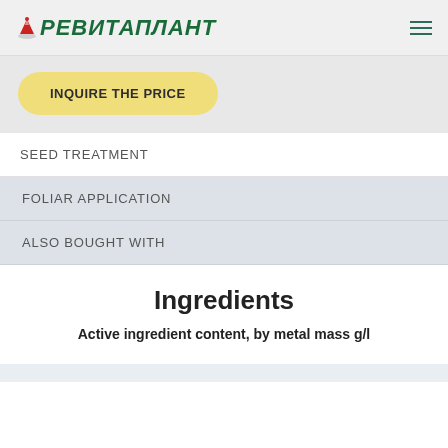РЕВИТАПЛАНТ
INQUIRE THE PRICE
SEED TREATMENT
FOLIAR APPLICATION
ALSO BOUGHT WITH
Ingredients
Active ingredient content, by metal mass g/l